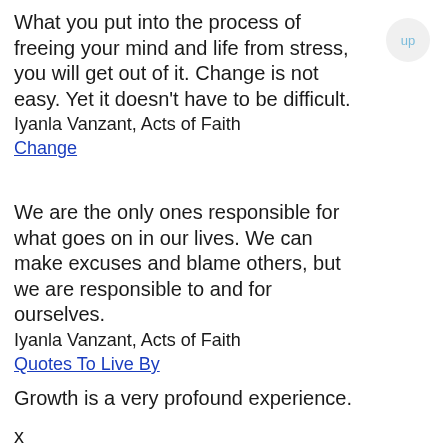What you put into the process of freeing your mind and life from stress, you will get out of it. Change is not easy. Yet it doesn't have to be difficult. Iyanla Vanzant, Acts of Faith
Change
We are the only ones responsible for what goes on in our lives. We can make excuses and blame others, but we are responsible to and for ourselves. Iyanla Vanzant, Acts of Faith
Quotes To Live By
Growth is a very profound experience.